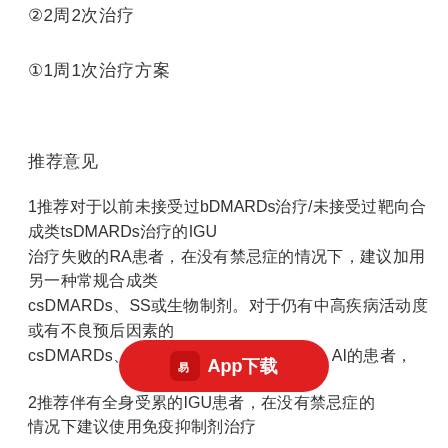②2周2次治疗
①1周1次治疗方案
推荐意见
1推荐对于以前未接受过bDMARDs治疗/未接受过靶向合成类tsDMARDs治疗的IGU治疗失败的RA患者，在没有禁忌症的情况下，建议加用另一种常规合成类csDMARDs、SS或生物制剂。对于仍有中高疾病活动度或有不良预后因素的SS治疗失败且进展为OSD、AI的患者，
2推荐伴有全身受累的IGU患者，在没有禁忌症的情况下建议使用免疫抑制剂治疗
推荐标准
[Figure (other): Red rounded button overlay showing 网易 App logo and text 'App下载']